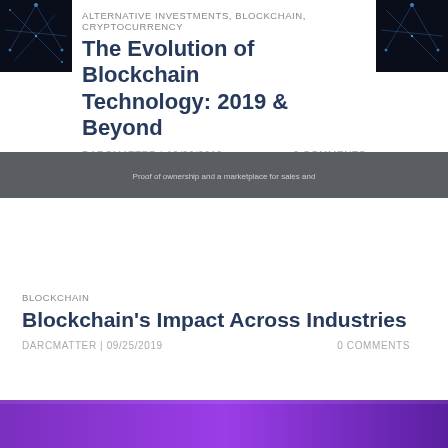[Figure (photo): Dark blue neural network / blockchain graphic thumbnail on left side]
[Figure (photo): Dark blue neural network / blockchain graphic thumbnail on right side]
ALTERNATIVE INVESTMENTS, BLOCKCHAIN, CRYPTOCURRENCY
The Evolution of Blockchain Technology: 2019 & Beyond
DARCMATTER | 12/26/2019    0 COMMENTS
[Figure (screenshot): Dark gray banner image with small white text: Proof of ownership and a marketplace for sales and]
BLOCKCHAIN
Blockchain's Impact Across Industries
DARCMATTER | 09/25/2019    0 COMMENTS
[Figure (photo): Purple/violet gradient image strip at bottom of page]